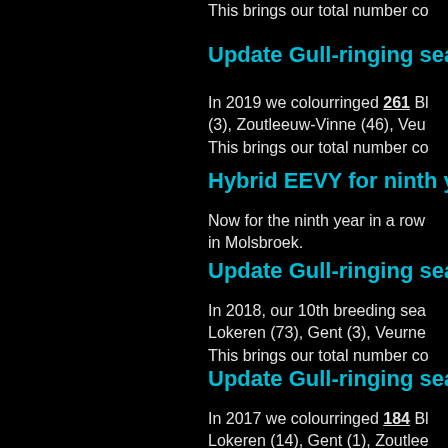This brings our total number co
Update Gull-ringing sea
In 2019 we colourringed 261 Bl
(3), Zoutleeuw-Vinne (46), Veu
This brings our total number co
Hybrid EEVY for ninth y
Now for the ninth year in a row
in Molsbroek.
Update Gull-ringing sea
In 2018, our 10th breeding sea
Lokeren (73), Gent (3), Veurne
This brings our total number co
Update Gull-ringing sea
In 2017 we colourringed 184 Bl
Lokeren (14), Gent (1), Zoutlee
This brings our total number co
New coulourring codes
From this breedingseason on, w
a four alpha- numeric code with
=> EA00 - EZ99
Hybrid EEVY for 7th yea